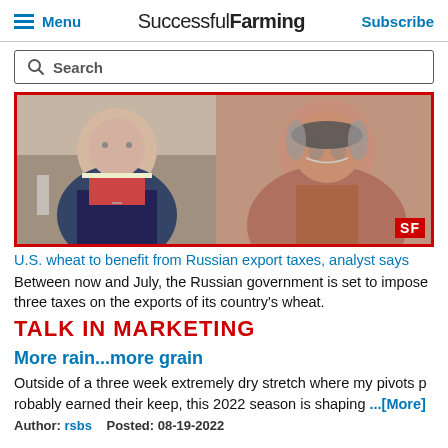Menu | Successful Farming | Subscribe
Search
[Figure (photo): Two men in a split-screen video: left man in suit with red tie, right man with beard in orange shirt. Red border frame with SF logo badge in bottom right.]
U.S. wheat to benefit from Russian export taxes, analyst says
Between now and July, the Russian government is set to impose three taxes on the exports of its country's wheat.
TALK IN MARKETING
More rain...more grain
Outside of a three week extremely dry stretch where my pivots probably earned their keep, this 2022 season is shaping ...[More]
Author: rsbs   Posted: 08-19-2022